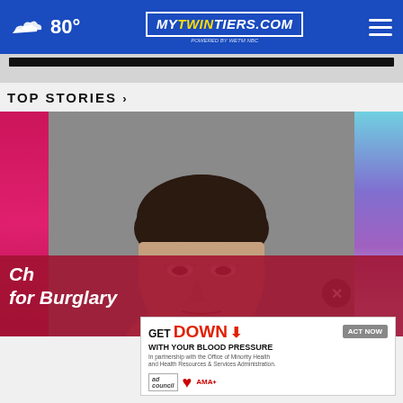80° mytwintiers.com
TOP STORIES ›
[Figure (photo): Mugshot photo of a man with dark hair, gray background, flanked by pink/magenta stripe on left and teal/purple stripe on right. A close X button appears in the lower right of the image overlay.]
Ch… for Burglary
[Figure (infographic): Advertisement banner: GET DOWN WITH YOUR BLOOD PRESSURE, ACT NOW button, logos for ad council, heart association, and AMA]